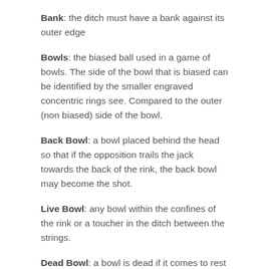Bank: the ditch must have a bank against its outer edge
Bowls: the biased ball used in a game of bowls. The side of the bowl that is biased can be identified by the smaller engraved concentric rings see. Compared to the outer (non biased) side of the bowl.
Back Bowl: a bowl placed behind the head so that if the opposition trails the jack towards the back of the rink, the back bowl may become the shot.
Live Bowl: any bowl within the confines of the rink or a toucher in the ditch between the strings.
Dead Bowl: a bowl is dead if it comes to rest in the ditch, passes completely outside the boundaries of the rink in play.